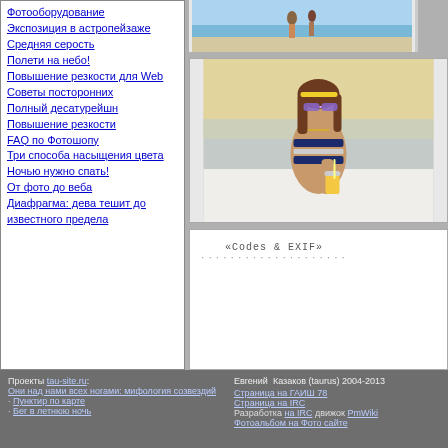Фотооборудование
Экспозиция в астропейзаже
Средняя серость
Полети на небо!
Повышение резкости для Web
Советы посторонних
Полный десатурейшн
Повышение резкости
FAQ по Фотошопу
Три способа насыщения цвета
Ночью нужно спать!
От фото до веба
Диафрагма: дева тешит до известного предела
[Figure (photo): Top strip photo of people on a beach]
[Figure (photo): Photo of a woman in a striped bikini sitting at a cafe by the sea, wearing gold sunglasses, holding a drink]
«Codes & EXIF»
Проекты tau-site.ru: Они над нами всех ногами: мифология созвездий · Пунктир по карте · Бег в летнюю ночь   Евгений Казаков (taurus) 2004-2013 Страница на ГАИШ 78 · Страница на IRC · Разработка на IRC движок PmWiki · Фотоальбом на фото сайте